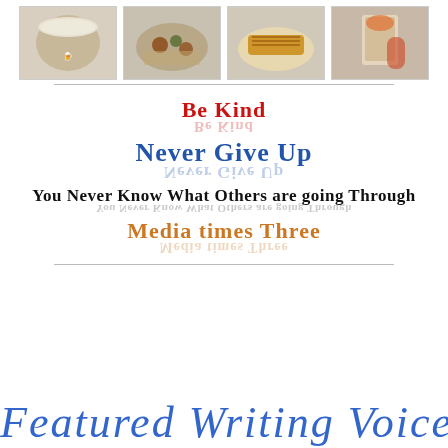[Figure (photo): Row of four food/drink photos: beer mug, food platter, grilled meat dish, dessert drink]
Be Kind
Never Give Up
You Never Know What Others are going Through
Media times Three
Featured Writing Voices